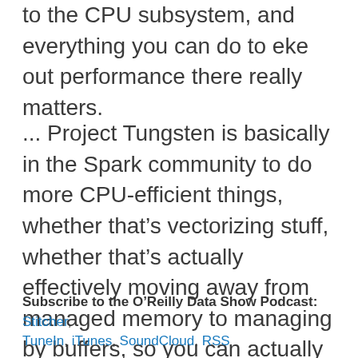to the CPU subsystem, and everything you can do to eke out performance there really matters.
... Project Tungsten is basically in the Spark community to do more CPU-efficient things, whether that’s vectorizing stuff, whether that’s actually effectively moving away from managed memory to managing by buffers, so you can actually have much more efficient handling of memory, so you can get better CPU efficiency as well.
Subscribe to the O’Reilly Data Show Podcast: Stitcher, TuneIn, iTunes, SoundCloud, RSS